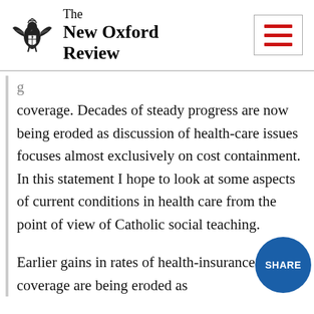The New Oxford Review
coverage. Decades of steady progress are now being eroded as discussion of health-care issues focuses almost exclusively on cost containment. In this statement I hope to look at some aspects of current conditions in health care from the point of view of Catholic social teaching.
Earlier gains in rates of health-insurance coverage are being eroded as